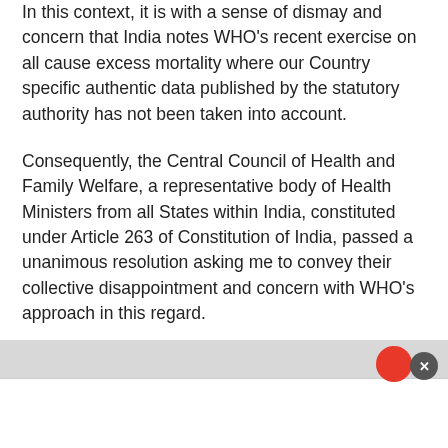In this context, it is with a sense of dismay and concern that India notes WHO's recent exercise on all cause excess mortality where our Country specific authentic data published by the statutory authority has not been taken into account.
Consequently, the Central Council of Health and Family Welfare, a representative body of Health Ministers from all States within India, constituted under Article 263 of Constitution of India, passed a unanimous resolution asking me to convey their collective disappointment and concern with WHO's approach in this regard.